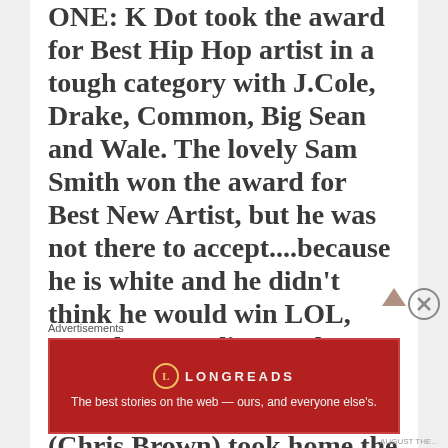ONE: K Dot took the award for Best Hip Hop artist in a tough category with J.Cole, Drake, Common, Big Sean and Wale. The lovely Sam Smith won the award for Best New Artist, but he was not there to accept....because he is white and he didn't think he would win LOL, says the comedian Anthony Anderson who accepted the award on his behalf. CB (Chris Brown) took home the award
Advertisements
[Figure (other): Longreads advertisement banner: red background with Longreads logo and tagline 'The best stories on the web — ours, and everyone else's.']